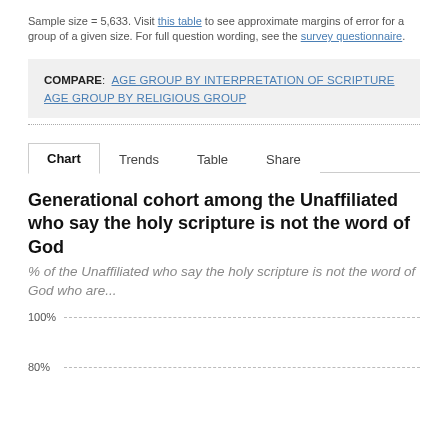Sample size = 5,633. Visit this table to see approximate margins of error for a group of a given size. For full question wording, see the survey questionnaire.
COMPARE: AGE GROUP BY INTERPRETATION OF SCRIPTURE  AGE GROUP BY RELIGIOUS GROUP
Chart  Trends  Table  Share
Generational cohort among the Unaffiliated who say the holy scripture is not the word of God
% of the Unaffiliated who say the holy scripture is not the word of God who are...
[Figure (bar-chart): Partial bar chart visible, y-axis showing 100% and 80% gridlines. Chart appears to be cut off at bottom of page.]